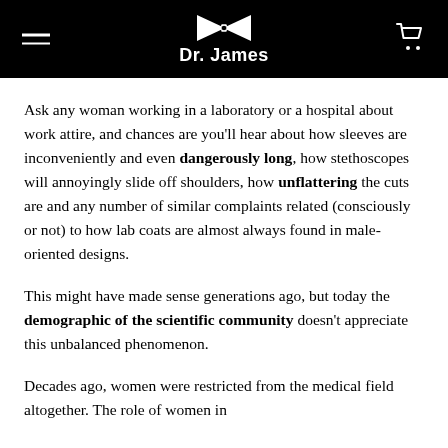Dr. James
Ask any woman working in a laboratory or a hospital about work attire, and chances are you'll hear about how sleeves are inconveniently and even dangerously long, how stethoscopes will annoyingly slide off shoulders, how unflattering the cuts are and any number of similar complaints related (consciously or not) to how lab coats are almost always found in male-oriented designs.
This might have made sense generations ago, but today the demographic of the scientific community doesn't appreciate this unbalanced phenomenon.
Decades ago, women were restricted from the medical field altogether. The role of women in